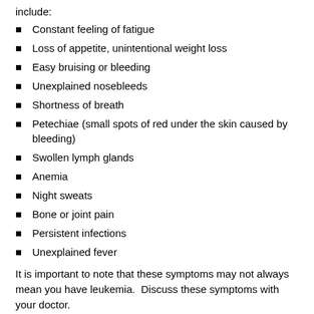include:
Constant feeling of fatigue
Loss of appetite, unintentional weight loss
Easy bruising or bleeding
Unexplained nosebleeds
Shortness of breath
Petechiae (small spots of red under the skin caused by bleeding)
Swollen lymph glands
Anemia
Night sweats
Bone or joint pain
Persistent infections
Unexplained fever
It is important to note that these symptoms may not always mean you have leukemia.  Discuss these symptoms with your doctor.
Ri